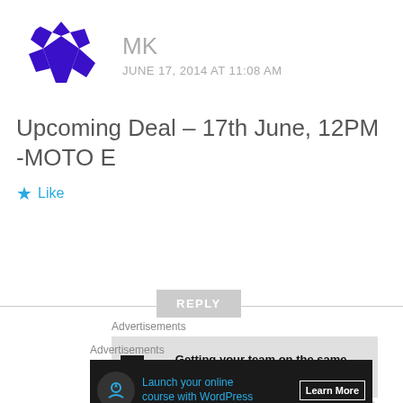[Figure (illustration): Purple/blue geometric avatar icon resembling a stylized sphere with checker pattern]
MK
JUNE 17, 2014 AT 11:08 AM
Upcoming Deal – 17th June, 12PM -MOTO E
★ Like
REPLY
Advertisements
[Figure (screenshot): P2 advertisement: Getting your team on the same page is easy. And free.]
REPORT THIS AD
Advertisements
[Figure (screenshot): Dark ad banner: Launch your online course with WordPress — Learn More]